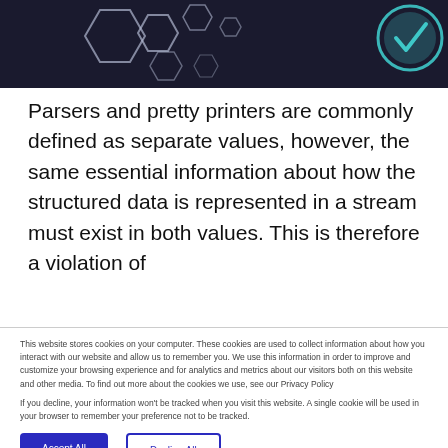[Figure (illustration): Dark background header with hexagonal shapes on the left and a teal circular play/check icon on the right]
Parsers and pretty printers are commonly defined as separate values, however, the same essential information about how the structured data is represented in a stream must exist in both values. This is therefore a violation of
This website stores cookies on your computer. These cookies are used to collect information about how you interact with our website and allow us to remember you. We use this information in order to improve and customize your browsing experience and for analytics and metrics about our visitors both on this website and other media. To find out more about the cookies we use, see our Privacy Policy

If you decline, your information won't be tracked when you visit this website. A single cookie will be used in your browser to remember your preference not to be tracked.
Accept All
Decline All